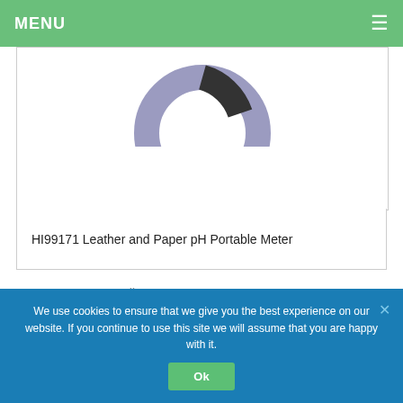MENU ☰
[Figure (photo): Partial view of a purple/grey circular pH meter device on white background]
HI99171 Leather and Paper pH Portable Meter
ΑΝΑΖΗΤΗΣΗ ΠΡΟΪΟΝΤΩΝ
Search products... SEARCH
We use cookies to ensure that we give you the best experience on our website. If you continue to use this site we will assume that you are happy with it. Ok